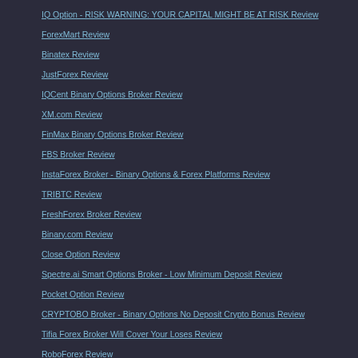IQ Option - RISK WARNING: YOUR CAPITAL MIGHT BE AT RISK Review
ForexMart Review
Binatex Review
JustForex Review
IQCent Binary Options Broker Review
XM.com Review
FinMax Binary Options Broker Review
FBS Broker Review
InstaForex Broker - Binary Options & Forex Platforms Review
TRIBTC Review
FreshForex Broker Review
Binary.com Review
Close Option Review
Spectre.ai Smart Options Broker - Low Minimum Deposit Review
Pocket Option Review
CRYPTOBO Broker - Binary Options No Deposit Crypto Bonus Review
Tifia Forex Broker Will Cover Your Loses Review
RoboForex Review
Ayrex Review
Binomo Review
ExpertOption Review